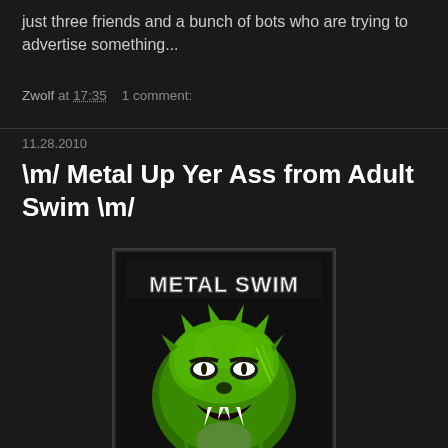just three friends and a bunch of bots who are trying to advertise something...
Zwolf at 17:35   1 comment:
11.28.2010
\m/ Metal Up Yer Ass from Adult Swim \m/
[Figure (illustration): Metal Swim album artwork featuring a green monster/creature face with glowing eyes and fangs, with 'METAL SWIM' text in heavy metal style lettering at the top]